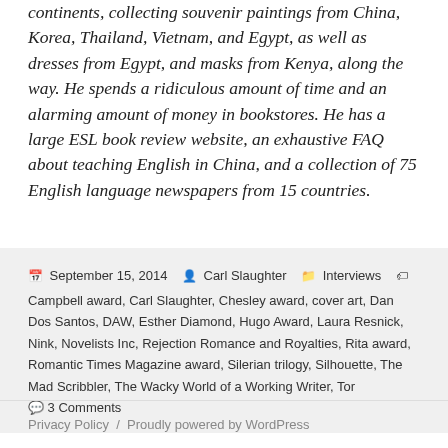continents, collecting souvenir paintings from China, Korea, Thailand, Vietnam, and Egypt, as well as dresses from Egypt, and masks from Kenya, along the way. He spends a ridiculous amount of time and an alarming amount of money in bookstores. He has a large ESL book review website, an exhaustive FAQ about teaching English in China, and a collection of 75 English language newspapers from 15 countries.
Posted September 15, 2014  Author Carl Slaughter  Categories Interviews  Tags Campbell award, Carl Slaughter, Chesley award, cover art, Dan Dos Santos, DAW, Esther Diamond, Hugo Award, Laura Resnick, Nink, Novelists Inc, Rejection Romance and Royalties, Rita award, Romantic Times Magazine award, Silerian trilogy, Silhouette, The Mad Scribbler, The Wacky World of a Working Writer, Tor  3 Comments
Privacy Policy  /  Proudly powered by WordPress